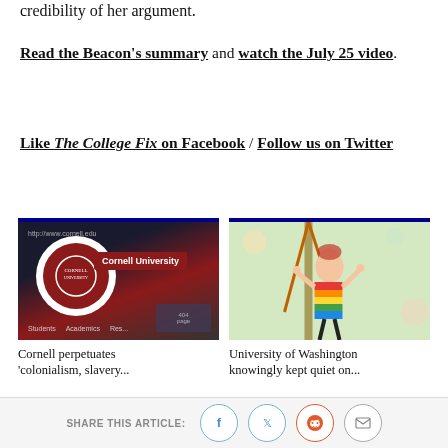credibility of her argument.
Read the Beacon's summary and watch the July 25 video.
Like The College Fix on Facebook / Follow us on Twitter
[Figure (photo): Cornell University website shown through a magnifying glass with the university logo and red branding visible]
Cornell perpetuates 'colonialism, slavery...
[Figure (photo): A young girl in a colorful rainbow striped long-sleeve shirt climbing or playing on ropes outdoors]
University of Washington knowingly kept quiet on...
SHARE THIS ARTICLE: